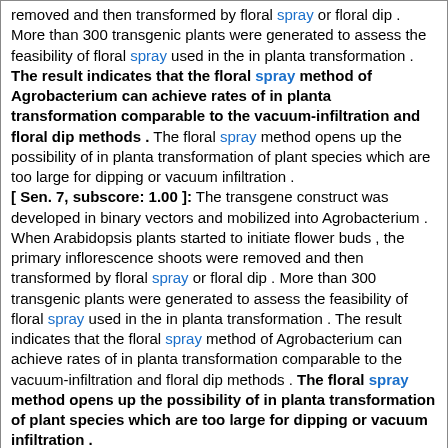removed and then transformed by floral spray or floral dip . More than 300 transgenic plants were generated to assess the feasibility of floral spray used in the in planta transformation . The result indicates that the floral spray method of Agrobacterium can achieve rates of in planta transformation comparable to the vacuum-infiltration and floral dip methods . The floral spray method opens up the possibility of in planta transformation of plant species which are too large for dipping or vacuum infiltration .
[ Sen. 7, subscore: 1.00 ]: The transgene construct was developed in binary vectors and mobilized into Agrobacterium . When Arabidopsis plants started to initiate flower buds , the primary inflorescence shoots were removed and then transformed by floral spray or floral dip . More than 300 transgenic plants were generated to assess the feasibility of floral spray used in the in planta transformation . The result indicates that the floral spray method of Agrobacterium can achieve rates of in planta transformation comparable to the vacuum-infiltration and floral dip methods . The floral spray method opens up the possibility of in planta transformation of plant species which are too large for dipping or vacuum infiltration .
Score: 5.00
Author: Mochi DA Monteiro AC Simi LD Sampaio AA
Citation: V : 166 P : 136-43 Type: MEDLINE
Literature: oryza Field: abstract Doc ID: pub19713044
Abstract: The efficacy of M anisopliae strain E9 as a biological insecticide for the adult and larval stages of H irritans was assessed under field conditions . To assess larvicidal activity , nine heifers were randomly divided into three groups , which were maintained separated from each other . The first group ingested fungal spores encapsulated in